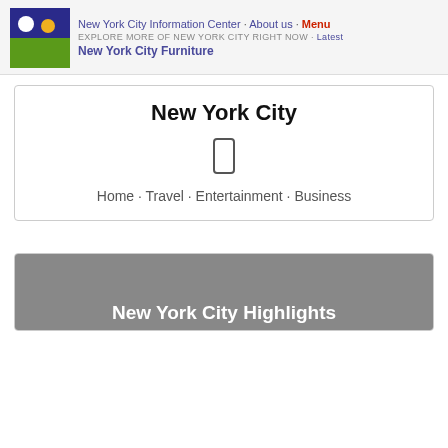New York City Information Center · About us · Menu
EXPLORE MORE OF NEW YORK CITY RIGHT NOW · Latest
New York City Furniture
New York City
Home · Travel · Entertainment · Business
New York City Highlights